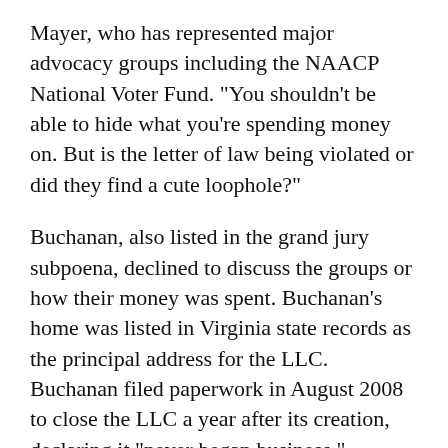Mayer, who has represented major advocacy groups including the NAACP National Voter Fund. "You shouldn't be able to hide what you're spending money on. But is the letter of law being violated or did they find a cute loophole?"
Buchanan, also listed in the grand jury subpoena, declined to discuss the groups or how their money was spent. Buchanan's home was listed in Virginia state records as the principal address for the LLC. Buchanan filed paperwork in August 2008 to close the LLC a year after its creation, declaring it "never began business."
A person involved in the investigation and who is familiar with the financial transactions told The AP that Baldick provided Young a salary boost of about